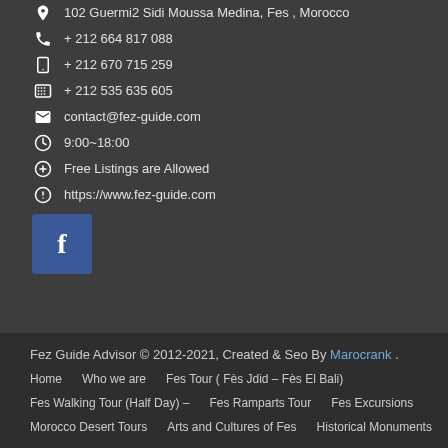102 Guermi2 Sidi Moussa Medina, Fes, Morocco
+ 212 664 817 088
+ 212 670 715 259
+ 212 535 635 605
contact@fez-guide.com
9:00~18:00
Free Listings are Allowed
https://www.fez-guide.com
[Figure (logo): Facebook blue button with letter f]
Fez Guide Advisor © 2012-2021, Created & Seo By Marocrank . Home  Who we are  Fes Tour ( Fès Jdid – Fès El Bali)  Fes Walking Tour (Half Day) –  Fes Ramparts Tour  Fes Excursions  Morocco Desert Tours  Arts and Cultures of Fes  Historical Monuments